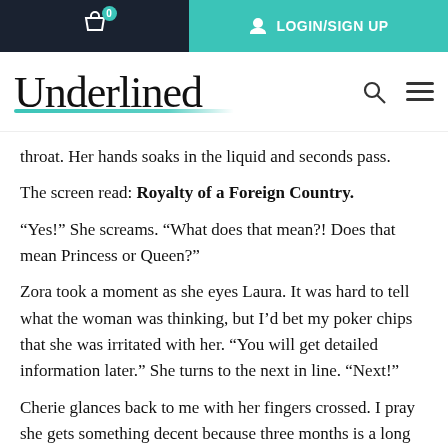LOGIN/SIGN UP (navigation bar with cart icon)
[Figure (logo): Underlined logo in script font with teal underline, plus search and hamburger menu icons]
throat. Her hands soaks in the liquid and seconds pass.
The screen read: Royalty of a Foreign Country.
“Yes!” She screams. “What does that mean?! Does that mean Princess or Queen?”
Zora took a moment as she eyes Laura. It was hard to tell what the woman was thinking, but I’d bet my poker chips that she was irritated with her. “You will get detailed information later.” She turns to the next in line. “Next!”
Cherie glances back to me with her fingers crossed. I pray she gets something decent because three months is a long time to be a slave or a *** cleaner.